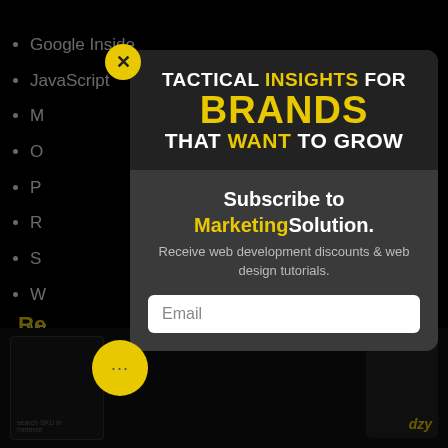Google Inside
JavaScript
M…
O…
P…
R…
S…
W…
W…
W…
Re…
[Figure (screenshot): Modal popup overlay on a dark webpage. The modal has a dark header section with the text 'TACTICAL INSIGHTS FOR BRANDS THAT WANT TO GROW' in bold white and yellow uppercase text. Below that on a dark gray background: 'Subscribe to MarketingSolution.' and 'Receive web development discounts & web design tutorials.' with an Email input field. A yellow X close button appears at the top-left of the modal. Background shows a list of items and a yellow chat bubble icon at the bottom.]